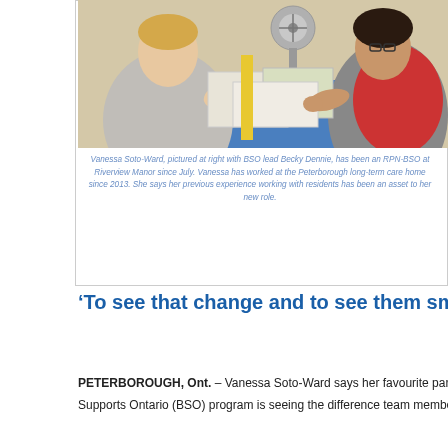[Figure (photo): Two women at a table. One woman with blonde hair on the left, one woman with dark hair and glasses on the right, both working with documents on a blue table. A fan is visible in the background.]
Vanessa Soto-Ward, pictured at right with BSO lead Becky Dennie, has been an RPN-BSO at Riverview Manor since July. Vanessa has worked at the Peterborough long-term care home since 2013. She says her previous experience working with residents has been an asset to her new role.
‘To see that change and to see them smiling is really nice,’ says Vanessa Soto-Ward
PETERBOROUGH, Ont. – Vanessa Soto-Ward says her favourite part of her job as a registered practical nurse (RPN) for Riverview Manor’s Behavioural Supports Ontario (BSO) program is seeing the difference team members make when they enhance residents’ quality of life. Read more ›